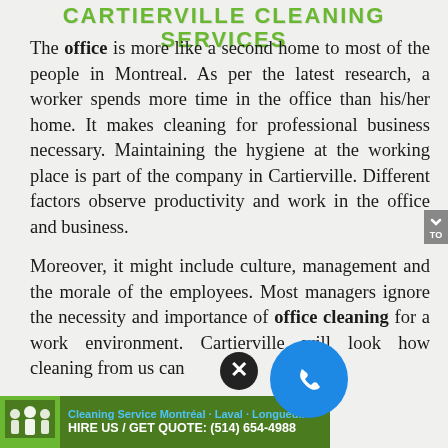CARTIERVILLE CLEANING SERVICES
The office is more like a second home to most of the people in Montreal. As per the latest research, a worker spends more time in the office than his/her home. It makes cleaning for professional business necessary. Maintaining the hygiene at the working place is part of the company in Cartierville. Different factors observe productivity and work in the office and business.
Moreover, it might include culture, management and the morale of the employees. Most managers ignore the necessity and importance of office cleaning for a work environment. Cartierville will look how cleaning from us can
[Figure (infographic): Bottom banner: Cleaning Service Montréal - Laval - Longueuil. HIRE US / GET QUOTE: (514) 654-4988. With company logo showing workers. Overlaid with a close/X button circle and a blue phone button circle.]